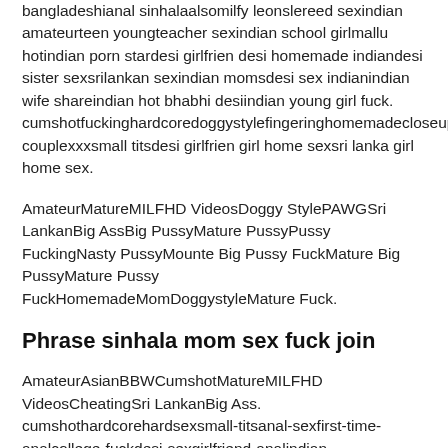bangladeshianal sinhalaalsomilfy leonslereed sexindian amateurteen youngteacher sexindian school girlmallu hotindian porn stardesi girlfrien desi homemade indiandesi sister sexsrilankan sexindian momsdesi sex indianindian wife shareindian hot bhabhi desiindian young girl fuck. cumshotfuckinghardcoredoggystylefingeringhomemadecloseuppussyfuckingindiangirlfrien couplexxxsmall titsdesi girlfrien girl home sexsri lanka girl home sex.
AmateurMatureMILFHD VideosDoggy StylePAWGSri LankanBig AssBig PussyMature PussyPussy FuckingNasty PussyMounte Big Pussy FuckMature Big PussyMature Pussy FuckHomemadeMomDoggystyleMature Fuck.
Phrase sinhala mom sex fuck join
AmateurAsianBBWCumshotMatureMILFHD VideosCheatingSri LankanBig Ass. cumshothardcorehardsexsmall-titsanal-sexfirst-time-analcollege-fuckdesi-sexgirlfriend-analindian-fuckingindian-